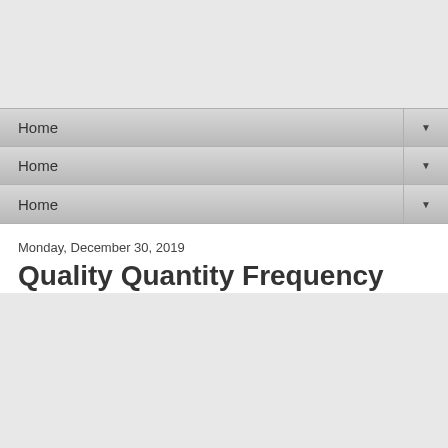[Figure (screenshot): Gray top area of a web interface]
Home
Home
Home
Monday, December 30, 2019
Quality Quantity Frequency